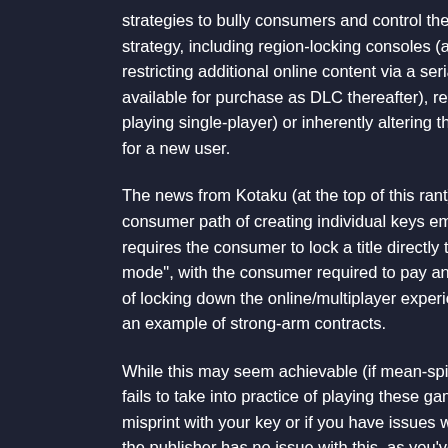strategies to bully consumers and control their purchasing habits. This strategy, including region-locking consoles (a historical approach to restricting additional online content via a serial key (available free as available for purchase as DLC thereafter), requiring an always-on in playing single-player) or inherently altering the physical media to no for a new user.

The news from Kotaku (at the top of this rant) suggests that Sony a consumer path of creating individual keys embedded in the media o requires the consumer to lock a title directly to their online account. mode", with the consumer required to pay an additional fee to play t of locking down the online/multiplayer experience like this, but for s an example of strong-arm contracts.

While this may seem achievable (if mean-spirited), these anti-consu fails to take into practice of playing these games when the servers a misprint with your key or if you have issues with your internet conne the publisher has no issue with this, as you've paid your money for t server connections are required for play, it allows them to re-release maximise their investment in the title by shutting down any access to invariably moves console gaming into the same realm as PC gamin strong-arm tactics in the PC gaming arena has been.